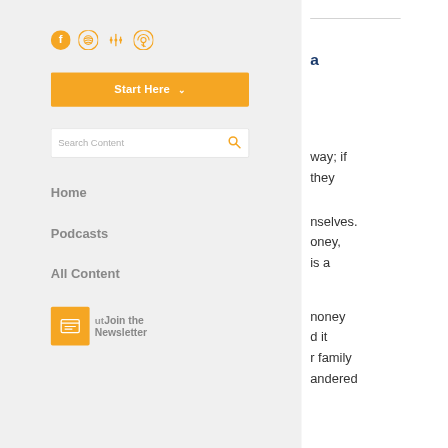[Figure (infographic): Social media and podcast platform icons: Facebook, Spotify, Google Podcasts, Apple Podcasts in orange]
[Figure (other): Orange 'Start Here' button with dropdown arrow]
[Figure (other): Search Content input bar with orange magnifying glass icon]
Home
Podcasts
All Content
[Figure (other): Orange newsletter icon button with newspaper icon and 'Join the Newsletter' text]
a
way; if they
nselves. oney, is a
noney d it r family andered